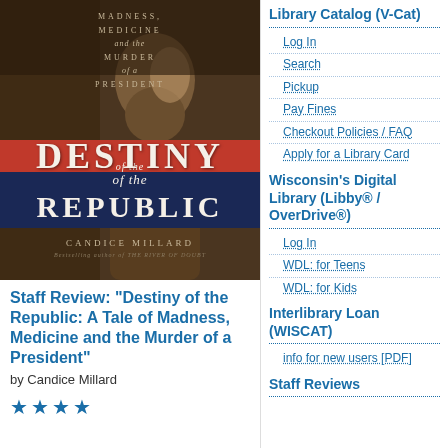[Figure (photo): Book cover of 'Destiny of the Republic: A Tale of Madness, Medicine and the Murder of a President' by Candice Millard. Features a sepia-toned portrait of a bearded man in profile. The cover has red and blue bands with 'DESTINY of the REPUBLIC' in large serif letters. Text at top reads 'Madness, Medicine and the Murder of a President'. Author name 'Candice Millard' at bottom.]
Staff Review: "Destiny of the Republic: A Tale of Madness, Medicine and the Murder of a President"
by Candice Millard
★★★★★
Library Catalog (V-Cat)
Log In
Search
Pickup
Pay Fines
Checkout Policies / FAQ
Apply for a Library Card
Wisconsin's Digital Library (Libby® / OverDrive®)
Log In
WDL: for Teens
WDL: for Kids
Interlibrary Loan (WISCAT)
info for new users [PDF]
Staff Reviews